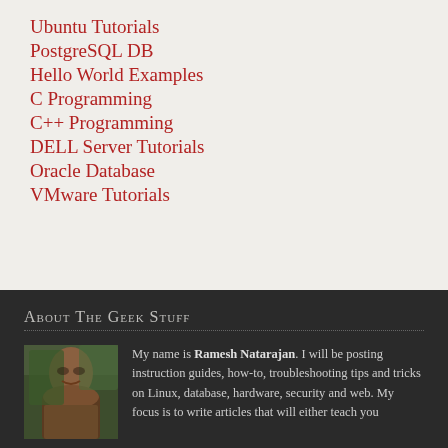Ubuntu Tutorials
PostgreSQL DB
Hello World Examples
C Programming
C++ Programming
DELL Server Tutorials
Oracle Database
VMware Tutorials
About The Geek Stuff
[Figure (photo): Photo of Ramesh Natarajan, a man with dark hair among green foliage]
My name is Ramesh Natarajan. I will be posting instruction guides, how-to, troubleshooting tips and tricks on Linux, database, hardware, security and web. My focus is to write articles that will either teach you or help you resolve a problem.